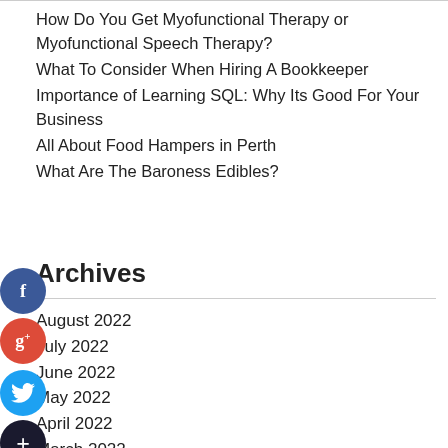How Do You Get Myofunctional Therapy or Myofunctional Speech Therapy?
What To Consider When Hiring A Bookkeeper
Importance of Learning SQL: Why Its Good For Your Business
All About Food Hampers in Perth
What Are The Baroness Edibles?
Archives
August 2022
July 2022
June 2022
May 2022
April 2022
March 2022
February 2022
January 2022